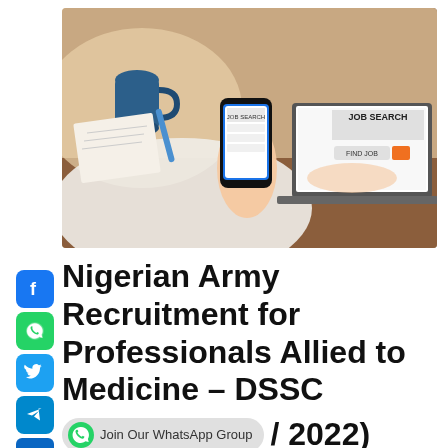[Figure (photo): Person holding a smartphone showing a job search app, with a laptop in the background displaying a 'JOB SEARCH' / 'FIND JOB' website, and a blue coffee mug on a wooden desk.]
Nigerian Army Recruitment for Professionals Allied to Medicine – DSSC / 2022)
[Figure (infographic): WhatsApp group join button with green WhatsApp icon and text 'Join Our WhatsApp Group']